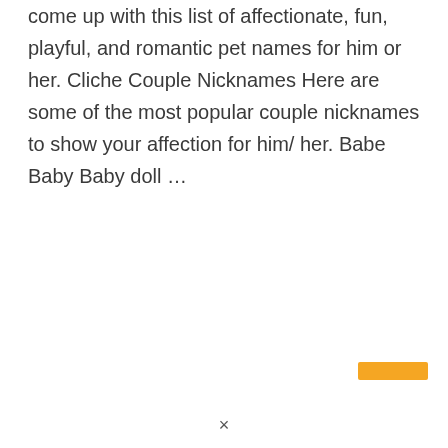come up with this list of affectionate, fun, playful, and romantic pet names for him or her. Cliche Couple Nicknames Here are some of the most popular couple nicknames to show your affection for him/ her. Babe Baby Baby doll …